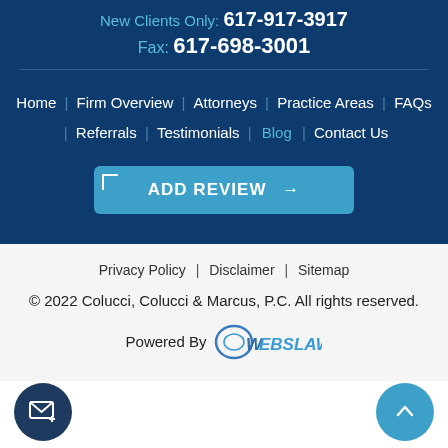New Clients Only: 617-917-3917
Fax: 617-698-3001
Home | Firm Overview | Attorneys | Practice Areas | FAQs | Referrals | Testimonials | Blog | Contact Us
ADD REVIEW →
Privacy Policy | Disclaimer | Sitemap
© 2022 Colucci, Colucci & Marcus, P.C. All rights reserved.
Powered By WEBSLAW